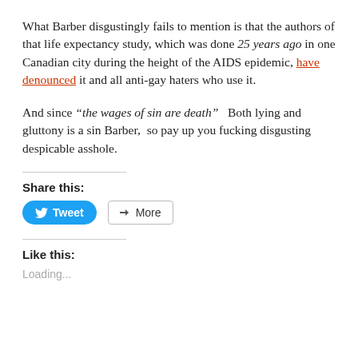What Barber disgustingly fails to mention is that the authors of that life expectancy study, which was done 25 years ago in one Canadian city during the height of the AIDS epidemic, have denounced it and all anti-gay haters who use it.
And since “the wages of sin are death”  Both lying and gluttony is a sin Barber,  so pay up you fucking disgusting despicable asshole.
Share this:
[Figure (screenshot): Tweet and More share buttons]
Like this:
Loading...